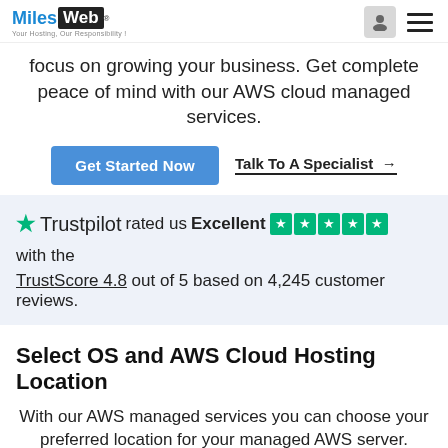MilesWeb — Your Hosting, Our Responsibility!
focus on growing your business. Get complete peace of mind with our AWS cloud managed services.
Get Started Now | Talk To A Specialist →
Trustpilot rated us Excellent ★★★★★ with the TrustScore 4.8 out of 5 based on 4,245 customer reviews.
Select OS and AWS Cloud Hosting Location
With our AWS managed services you can choose your preferred location for your managed AWS server.